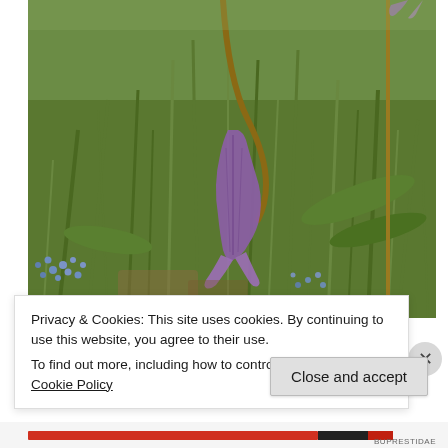[Figure (photo): Close-up photograph of a drooping purple/violet flower (appears to be a Fritillaria or similar bell-shaped flower) hanging on a curved stem, with green grass, leaves, and small blue forget-me-not flowers in the background.]
Privacy & Cookies: This site uses cookies. By continuing to use this website, you agree to their use.
To find out more, including how to control cookies, see here: Cookie Policy
BUPRESTIDAE